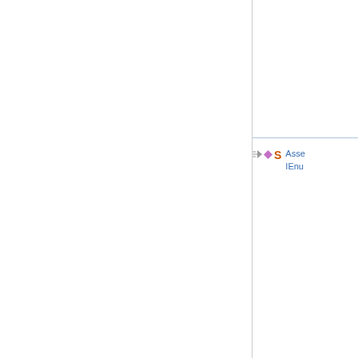[Figure (screenshot): API documentation browser showing three entries, each with a speed/motion icon, a purple diamond icon, and an orange S icon, followed by blue text showing partially visible method signatures starting with 'Asse', 'IEnu', and 'Func' / 'INode' labels.]
Asse
IEnu
Asse
IEnu
Func
Asse
INod
Func